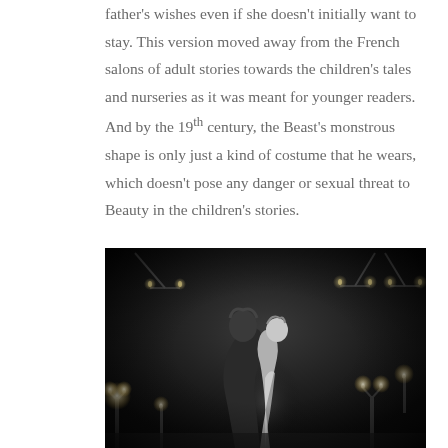father's wishes even if she doesn't initially want to stay. This version moved away from the French salons of adult stories towards the children's tales and nurseries as it was meant for younger readers. And by the 19th century, the Beast's monstrous shape is only just a kind of costume that he wears, which doesn't pose any danger or sexual threat to Beauty in the children's stories.
[Figure (photo): A black and white photograph showing two figures in a candlelit ballroom scene, with chandeliers visible in the background. The figures appear to be dancing or embracing, with candles and candelabras surrounding them.]